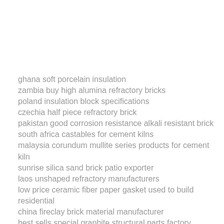ghana soft porcelain insulation
zambia buy high alumina refractory bricks
poland insulation block specifications
czechia half piece refractory brick
pakistan good corrosion resistance alkali resistant brick
south africa castables for cement kilns
malaysia corundum mullite series products for cement kiln
sunrise silica sand brick patio exporter
laos unshaped refractory manufacturers
low price ceramic fiber paper gasket used to build residential
china fireclay brick material manufacturer
best sells special graphite structural parts factory
cambodia refractory brick price
indonesia ceramic fiber textiles with factory price
wholesale ceramic fiber module used to build commercial constructions